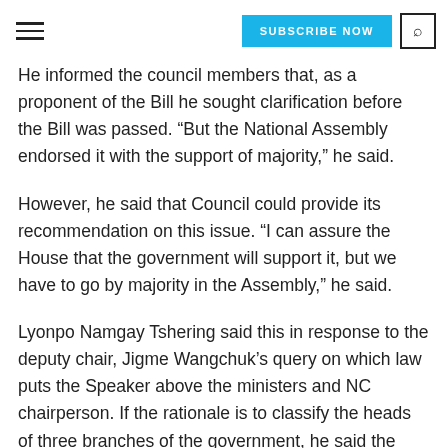SUBSCRIBE NOW
He informed the council members that, as a proponent of the Bill he sought clarification before the Bill was passed. “But the National Assembly endorsed it with the support of majority,” he said.
However, he said that Council could provide its recommendation on this issue. “I can assure the House that the government will support it, but we have to go by majority in the Assembly,” he said.
Lyonpo Namgay Tshering said this in response to the deputy chair, Jigme Wangchuk’s query on which law puts the Speaker above the ministers and NC chairperson. If the rationale is to classify the heads of three branches of the government, he said the Speaker couldn’t be considered as the head of legislative branch, which is basically the Parliament. “By Constitution, Parliament is the National Assembly, National Council and His Majesty The King,” he